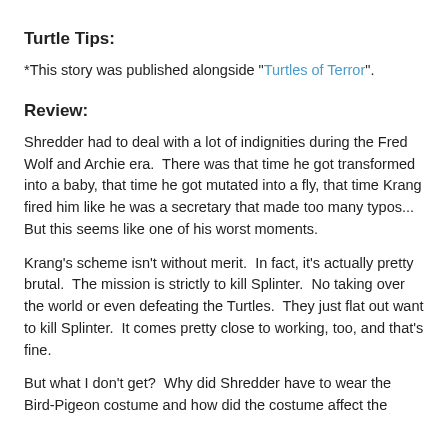Turtle Tips:
*This story was published alongside "Turtles of Terror".
Review:
Shredder had to deal with a lot of indignities during the Fred Wolf and Archie era.  There was that time he got transformed into a baby, that time he got mutated into a fly, that time Krang fired him like he was a secretary that made too many typos... But this seems like one of his worst moments.
Krang's scheme isn't without merit.  In fact, it's actually pretty brutal.  The mission is strictly to kill Splinter.  No taking over the world or even defeating the Turtles.  They just flat out want to kill Splinter.  It comes pretty close to working, too, and that's fine.
But what I don't get?  Why did Shredder have to wear the Bird-Pigeon costume and how did the costume affect the